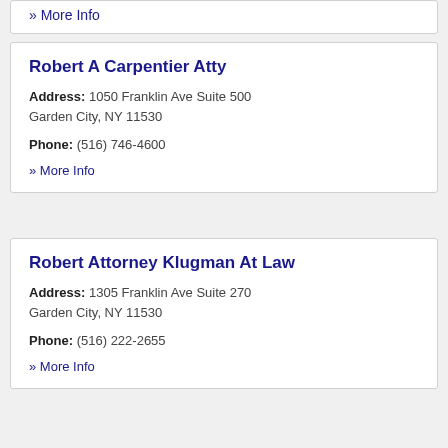» More Info
Robert A Carpentier Atty
Address: 1050 Franklin Ave Suite 500 Garden City, NY 11530
Phone: (516) 746-4600
» More Info
Robert Attorney Klugman At Law
Address: 1305 Franklin Ave Suite 270 Garden City, NY 11530
Phone: (516) 222-2655
» More Info